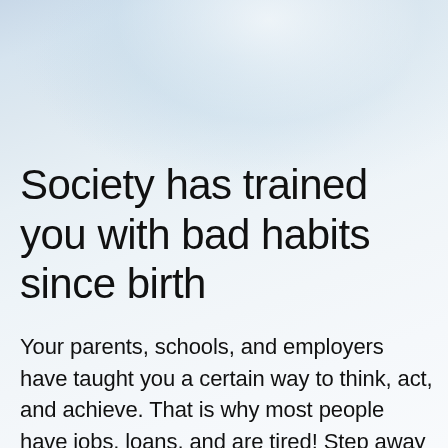Society has trained you with bad habits since birth
Your parents, schools, and employers have taught you a certain way to think, act, and achieve. That is why most people have jobs, loans, and are tired! Step away from that society conditioning and learn the WLMM